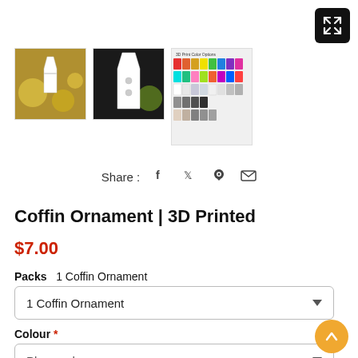[Figure (screenshot): Expand/fullscreen button, black square with X arrows icon, top right corner]
[Figure (photo): Three product thumbnail images: white coffin ornament on gold Christmas tree, white coffin ornament on dark background, and a color options chart showing 3D print color swatches in many colors]
Share: f  𝕏  ℗  ✉
Coffin Ornament | 3D Printed
$7.00
Packs   1 Coffin Ornament
1 Coffin Ornament  ▼
Colour *
Please choose  ▼